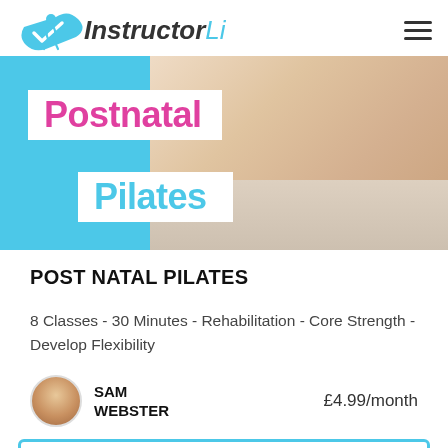InstructorLive
[Figure (photo): Hero banner showing a woman in pink doing postnatal pilates with a baby on a mat. Text overlays read 'Postnatal' in pink and 'Pilates' in blue on white boxes against a cyan/blue background.]
POST NATAL PILATES
8 Classes - 30 Minutes - Rehabilitation - Core Strength - Develop Flexibility
SAM WEBSTER
£4.99/month